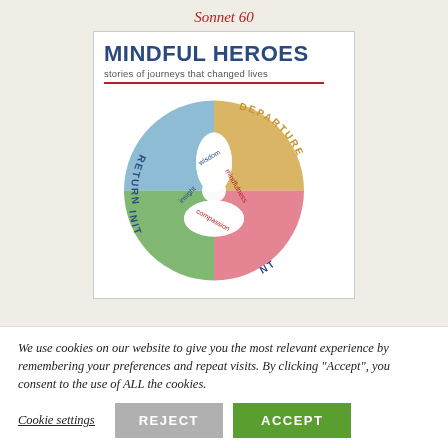Sonnet 60
[Figure (illustration): Book cover for 'Mindful Heroes: stories of journeys that changed lives'. Features a circular diagram divided into four illustrated quadrants labeled DEPARTURE (top right, golden/desert landscape), RETURN (left, blue winter cityscape), INITIATION (bottom left, green forest landscape), and a fourth quadrant (bottom right, pink/red mountainous landscape). The center of the circle has a four-petal flower shape with labels: wisdom, mindfulness, compassion, insight. The title 'MINDFUL HEROES' is in large bold dark blue text at the top with a red underline.]
We use cookies on our website to give you the most relevant experience by remembering your preferences and repeat visits. By clicking “Accept”, you consent to the use of ALL the cookies.
Cookie settings   REJECT   ACCEPT